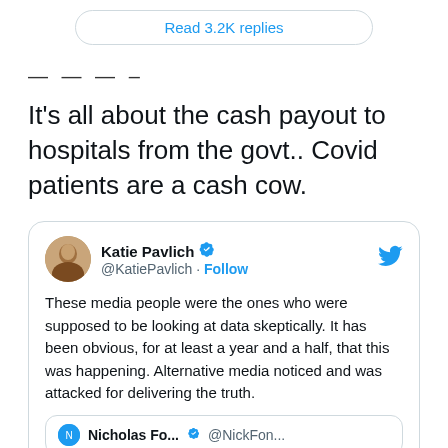[Figure (screenshot): Twitter/X UI button showing 'Read 3.2K replies' in a rounded rectangle border]
— — — –
It's all about the cash payout to hospitals from the govt.. Covid patients are a cash cow.
[Figure (screenshot): Tweet by Katie Pavlich (@KatiePavlich) with verified badge and Follow button: 'These media people were the ones who were supposed to be looking at data skeptically. It has been obvious, for at least a year and a half, that this was happening. Alternative media noticed and was attacked for delivering the truth.' With a nested tweet card showing Nicholas Fo... @NickFon...]